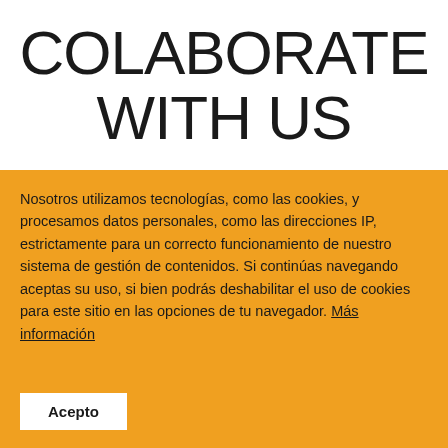COLABORATE WITH US
Nosotros utilizamos tecnologías, como las cookies, y procesamos datos personales, como las direcciones IP, estrictamente para un correcto funcionamiento de nuestro sistema de gestión de contenidos. Si continúas navegando aceptas su uso, si bien podrás deshabilitar el uso de cookies para este sitio en las opciones de tu navegador. Más información
Acepto